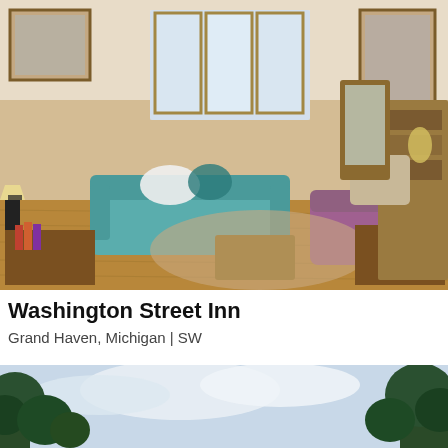[Figure (photo): Interior of Washington Street Inn showing a cozy living room with a teal sofa, purple armchair, wooden floors, bay windows, lamps, framed artwork, and antique furniture]
Washington Street Inn
Grand Haven, Michigan | SW
[Figure (photo): Outdoor scene showing trees and a partly cloudy sky, bottom portion of page]